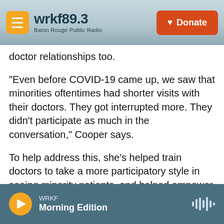wrkf89.3 Baton Rouge Public Radio | Donate
doctor relationships too.
"Even before COVID-19 came up, we saw that minorities oftentimes had shorter visits with their doctors. They got interrupted more. They didn't participate as much in the conversation," Cooper says.
To help address this, she's helped train doctors to take a more participatory style in seeing minority patients, and helped empower patients — with information and support from community health workers — to speak up in their appointments.
WRKF Morning Edition